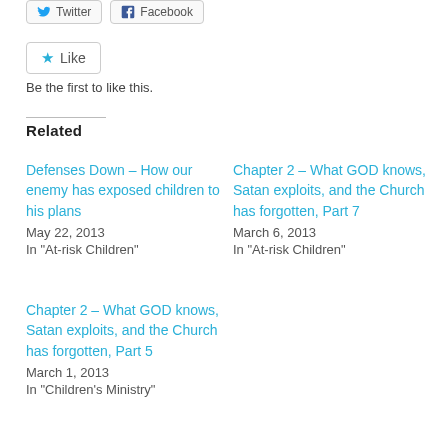[Figure (screenshot): Twitter and Facebook sharing buttons]
[Figure (screenshot): Like button with star icon]
Be the first to like this.
Related
Defenses Down – How our enemy has exposed children to his plans
May 22, 2013
In "At-risk Children"
Chapter 2 – What GOD knows, Satan exploits, and the Church has forgotten, Part 7
March 6, 2013
In "At-risk Children"
Chapter 2 – What GOD knows, Satan exploits, and the Church has forgotten, Part 5
March 1, 2013
In "Children's Ministry"